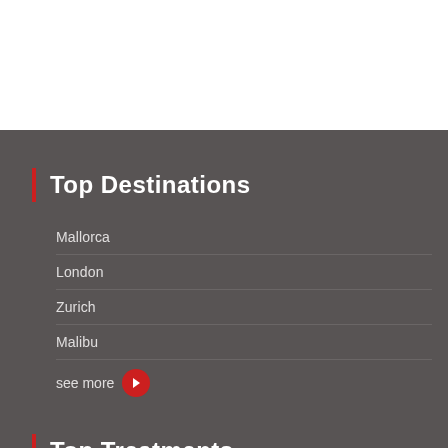Top Destinations
Mallorca
London
Zurich
Malibu
see more
Top Treatments